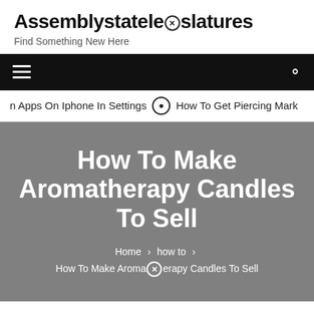Assemblystatele⊗slatures
Find Something New Here
☰ [hamburger menu] 🔍 [search icon]
⊗n Apps On Iphone In Settings  ⊙ How To Get Piercing Mark
How To Make Aromatherapy Candles To Sell
Home > how to > How To Make Aroma⊗erapy Candles To Sell